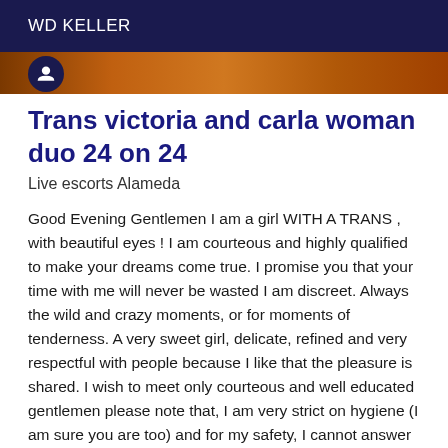WD KELLER
[Figure (photo): Partial image strip showing a brown/orange toned background with a circular icon on the left side]
Trans victoria and carla woman duo 24 on 24
Live escorts Alameda
Good Evening Gentlemen I am a girl WITH A TRANS , with beautiful eyes ! I am courteous and highly qualified to make your dreams come true. I promise you that your time with me will never be wasted I am discreet. Always the wild and crazy moments, or for moments of tenderness. A very sweet girl, delicate, refined and very respectful with people because I like that the pleasure is shared. I wish to meet only courteous and well educated gentlemen please note that, I am very strict on hygiene (I am sure you are too) and for my safety, I cannot answer calls from selected numbers. If I'm busy or leave me a message I'll be sure to get back to you as soon as possible. I move only !!!!!!